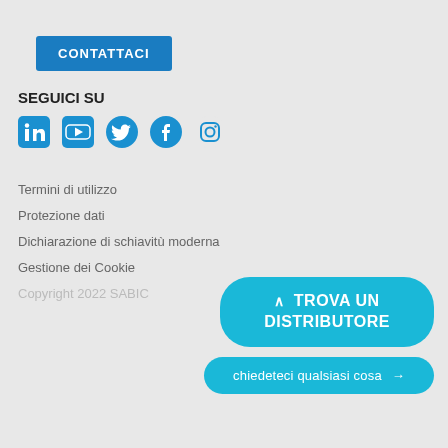CONTATTACI
SEGUICI SU
[Figure (illustration): Social media icons: LinkedIn, YouTube, Twitter, Facebook, Instagram in blue]
Termini di utilizzo
Protezione dati
Dichiarazione di schiavitù moderna
Gestione dei Cookie
Copyright 2022 SABIC
^ TROVA UN DISTRIBUTORE
chiedeteci qualsiasi cosa →